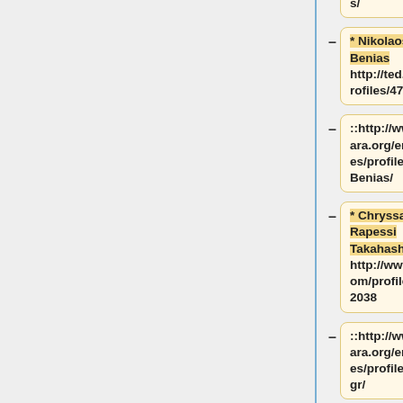es/profile/nazaros/
* Nikolaos Benias http://ted.com/profiles/472661
::http://www.amara.org/en/profiles/profile/NikosBenias/
* Chryssa Rapessi Takahashi http://www.ted.com/profiles/1302038
::http://www.amara.org/en/profiles/profile/japangr/